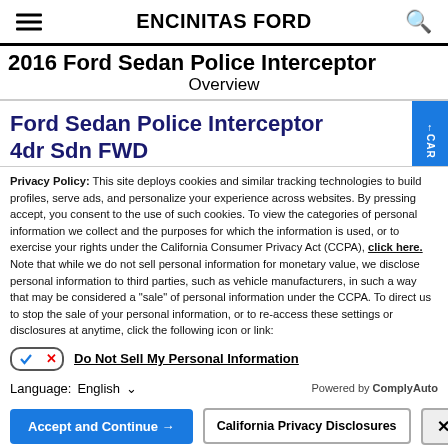ENCINITAS FORD
2016 Ford Sedan Police Interceptor Overview
Ford Sedan Police Interceptor 4dr Sdn FWD
Privacy Policy: This site deploys cookies and similar tracking technologies to build profiles, serve ads, and personalize your experience across websites. By pressing accept, you consent to the use of such cookies. To view the categories of personal information we collect and the purposes for which the information is used, or to exercise your rights under the California Consumer Privacy Act (CCPA), click here. Note that while we do not sell personal information for monetary value, we disclose personal information to third parties, such as vehicle manufacturers, in such a way that may be considered a "sale" of personal information under the CCPA. To direct us to stop the sale of your personal information, or to re-access these settings or disclosures at anytime, click the following icon or link:
Do Not Sell My Personal Information
Language: English
Powered by ComplyAuto
Accept and Continue → | California Privacy Disclosures | X